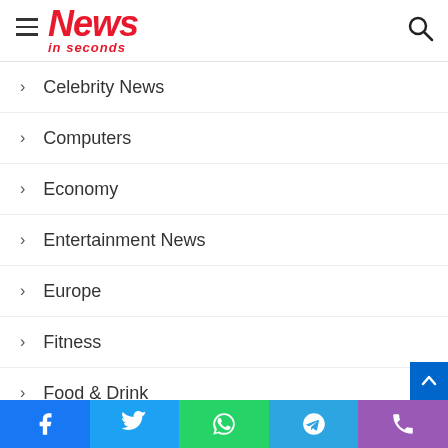News in seconds
Celebrity News
Computers
Economy
Entertainment News
Europe
Fitness
Food & Drink
Gadgets
Games
Health
Ideas
Facebook Twitter WhatsApp Telegram Phone